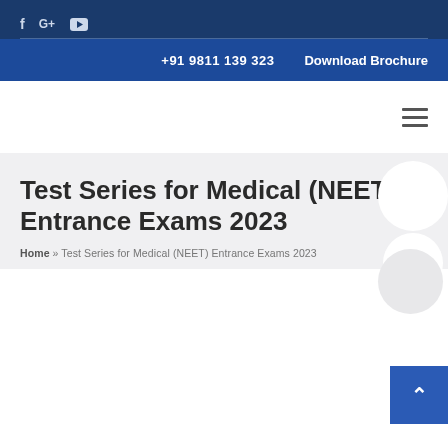f G+ [YouTube icon] | +91 9811 139 323 | Download Brochure
Test Series for Medical (NEET) Entrance Exams 2023
Home » Test Series for Medical (NEET) Entrance Exams 2023